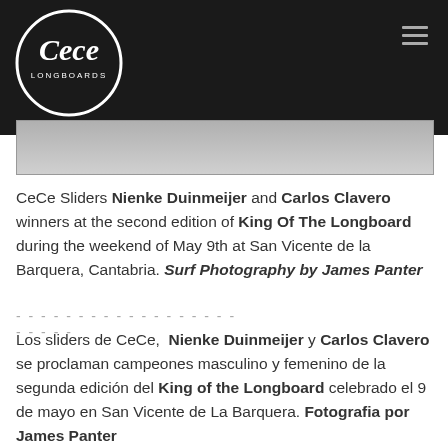[Figure (logo): CeCe Longboards logo — circular white on black with cursive 'Cece' text and 'LONGBOARDS' below, displayed in header bar]
CeCe Sliders Nienke Duinmeijer and Carlos Clavero winners at the second edition of King Of The Longboard during the weekend of May 9th at San Vicente de la Barquera, Cantabria. Surf Photography by James Panter
- - - - - - - - - - - - - - - - - - - - - - -
Los sliders de CeCe,  Nienke Duinmeijer y Carlos Clavero se proclaman campeones masculino y femenino de la segunda edición del King of the Longboard celebrado el 9 de mayo en San Vicente de La Barquera. Fotografia por James Panter